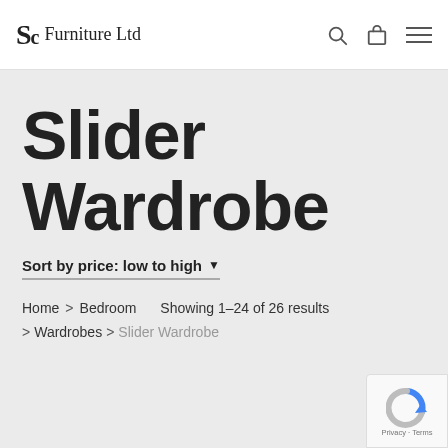SC Furniture Ltd
Slider Wardrobe
Sort by price: low to high
Home > Bedroom   Showing 1–24 of 26 results
> Wardrobes > Slider Wardrobe
[Figure (logo): reCAPTCHA badge with Privacy and Terms links]